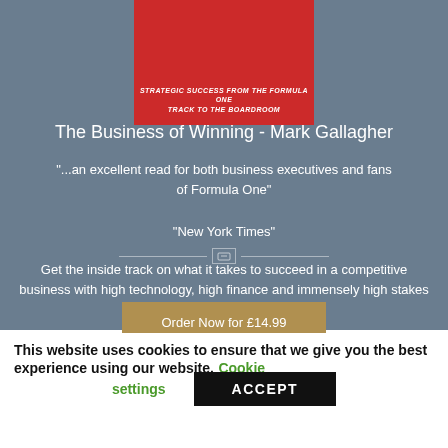[Figure (illustration): Red book cover for 'The Business of Winning' with text 'Strategic Success from the Formula One Track to the Boardroom' and a logo]
The Business of Winning - Mark Gallagher
"...an excellent read for both business executives and fans of Formula One"
"New York Times"
Get the inside track on what it takes to succeed in a competitive business with high technology, high finance and immensely high stakes
Order Now for £14.99
This website uses cookies to ensure that that we give you the best experience using our website. Cookie settings
ACCEPT